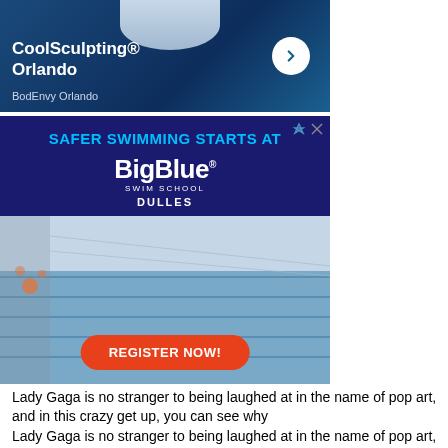[Figure (photo): CoolSculpting Orlando advertisement with dark blue background, product image, white bold text reading 'CoolSculpting® Orlando', subtitle 'BodEnvy Orlando', and a white circular arrow button]
[Figure (photo): BigBlue Swim School advertisement with dark navy background, 'SAFER SWIMMING STARTS AT' in blue uppercase text, BigBlue logo in white bold, 'SWIM SCHOOL' and 'DULLES' below, pool interior photo, and orange 'REGISTER NOW!' button]
Lady Gaga is no stranger to being laughed at in the name of pop art, and in this crazy get up, you can see why
Lady Gaga is no stranger to being laughed at in the name of pop art, and in this crazy get up, you can see why
Lady Gaga is no stranger to being laughed at in the name of pop